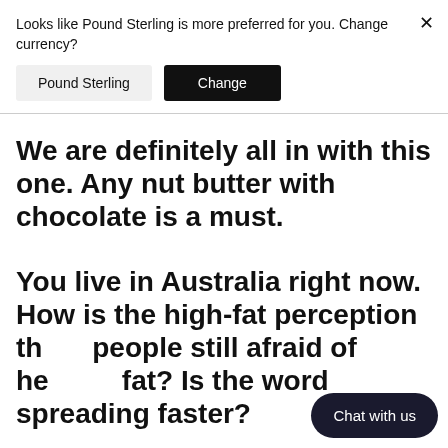Looks like Pound Sterling is more preferred for you. Change currency?
Pound Sterling | Change
We are definitely all in with this one. Any nut butter with chocolate is a must.
You live in Australia right now. How is the high-fat perception th e people still afraid of hea fat? Is the word spreading faster?
Chat with us